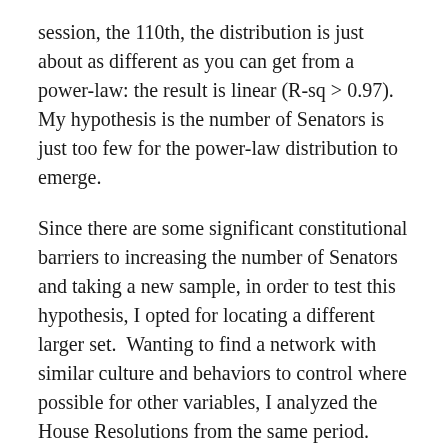session, the 110th, the distribution is just about as different as you can get from a power-law: the result is linear (R-sq > 0.97).  My hypothesis is the number of Senators is just too few for the power-law distribution to emerge.
Since there are some significant constitutional barriers to increasing the number of Senators and taking a new sample, in order to test this hypothesis, I opted for locating a different larger set.  Wanting to find a network with similar culture and behaviors to control where possible for other variables, I analyzed the House Resolutions from the same period.
Running the same test across